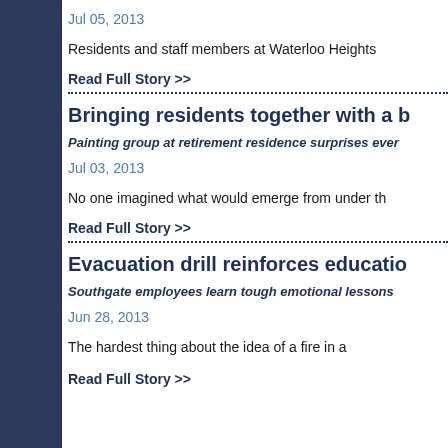Jul 05, 2013
Residents and staff members at Waterloo Heights
Read Full Story >>
Bringing residents together with a b
Painting group at retirement residence surprises ever
Jul 03, 2013
No one imagined what would emerge from under th
Read Full Story >>
Evacuation drill reinforces educatio
Southgate employees learn tough emotional lessons
Jun 28, 2013
The hardest thing about the idea of a fire in a
Read Full Story >>